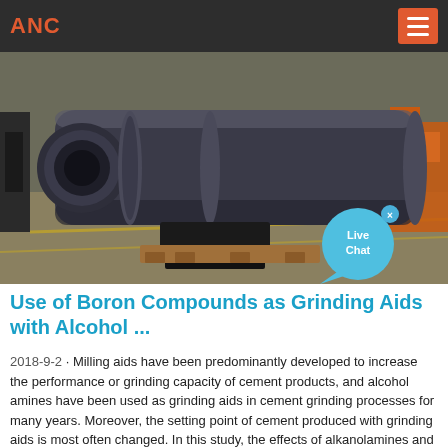ANC
[Figure (photo): Industrial ball mill / grinding mill machine photographed in a factory setting. Large cylindrical grey metal drum with flanges and a smaller cylindrical inlet on the left, mounted on a black metal base frame on a warehouse floor. Orange machinery visible in the background right. A 'Live Chat' speech bubble widget overlaid on the lower right.]
Use of Boron Compounds as Grinding Aids with Alcohol ...
2018-9-2 · Milling aids have been predominantly developed to increase the performance or grinding capacity of cement products, and alcohol amines have been used as grinding aids in cement grinding processes for many years. Moreover, the setting point of cement produced with grinding aids is most often changed. In this study, the effects of alkanolamines and boron compounds in